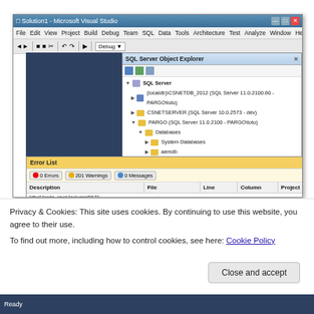[Figure (screenshot): Microsoft Visual Studio window showing SQL Server Object Explorer with tree: SQL Server > (localdb)\CSNETDB_2012 (SQL Server 11.0.2100.60 - PARGO\toto), CSNETSERVER (SQL Server 10.0.2573 - dev), PARGO (SQL Server 11.0.2100 - PARGO\toto) > Databases > System Databases > aemdb. Below is an Error List panel showing 0 Errors, 201 Warnings, 0 Messages with columns Description, File, Line, Column, Project and a row starting [dbo].[orde_raw].[column'0671]
Privacy & Cookies: This site uses cookies. By continuing to use this website, you agree to their use.
To find out more, including how to control cookies, see here: Cookie Policy
Close and accept